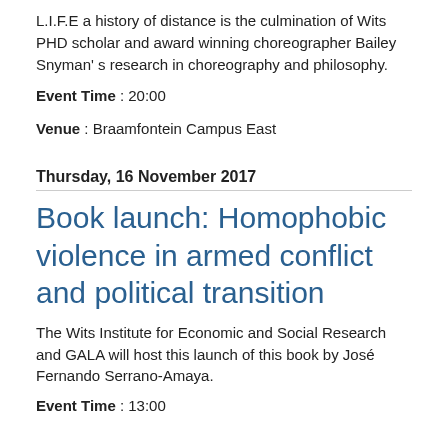L.I.F.E a history of distance is the culmination of Wits PHD scholar and award winning choreographer Bailey Snyman' s research in choreography and philosophy.
Event Time : 20:00
Venue : Braamfontein Campus East
Thursday, 16 November 2017
Book launch: Homophobic violence in armed conflict and political transition
The Wits Institute for Economic and Social Research and GALA will host this launch of this book by José Fernando Serrano-Amaya.
Event Time : 13:00